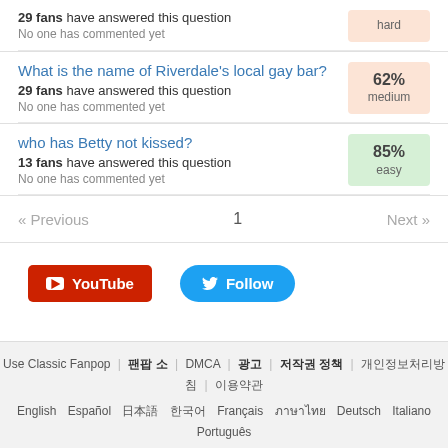29 fans have answered this question
No one has commented yet
hard
What is the name of Riverdale's local gay bar?
29 fans have answered this question
No one has commented yet
62% medium
who has Betty not kissed?
13 fans have answered this question
No one has commented yet
85% easy
« Previous   1   Next »
[Figure (other): YouTube and Twitter Follow buttons]
Use Classic Fanpop | □□□ | DMCA | □□ | □□□ □□ | □□□□□□□□ | □□□
English Español □□□□□□ □□ Français □□□□□ Deutsch Italiano Português